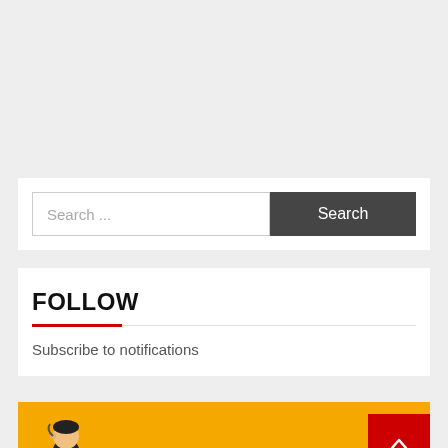Search ...
FOLLOW
Subscribe to notifications
[Figure (illustration): Orange card with a small cartoon character illustration visible at the bottom.]